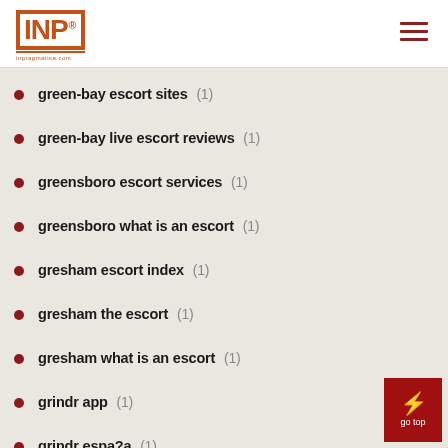INP logo with hamburger menu
green-bay escort sites (1)
green-bay live escort reviews (1)
greensboro escort services (1)
greensboro what is an escort (1)
gresham escort index (1)
gresham the escort (1)
gresham what is an escort (1)
grindr app (1)
grindr espa?a (1)
grindr login (1)
grindr sito di incontri (1)